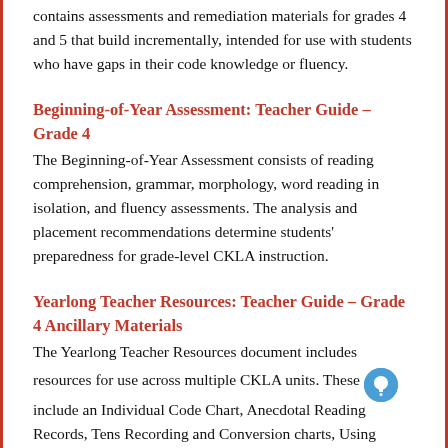contains assessments and remediation materials for grades 4 and 5 that build incrementally, intended for use with students who have gaps in their code knowledge or fluency.
Beginning-of-Year Assessment: Teacher Guide – Grade 4
The Beginning-of-Year Assessment consists of reading comprehension, grammar, morphology, word reading in isolation, and fluency assessments. The analysis and placement recommendations determine students' preparedness for grade-level CKLA instruction.
Yearlong Teacher Resources: Teacher Guide – Grade 4 Ancillary Materials
The Yearlong Teacher Resources document includes resources for use across multiple CKLA units. These include an Individual Code Chart, Anecdotal Reading Records, Tens Recording and Conversion charts, Using